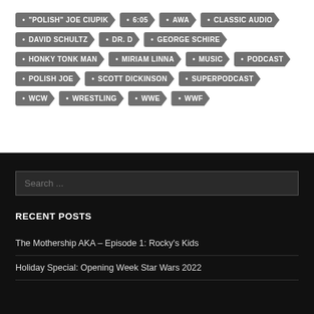"POLISH" JOE CIUPIK
6:05
AWA
CLASSIC AUDIO
DAVID SCHULTZ
DR. D
GEORGE SCHIRE
HONKY TONK MAN
MIRIAM LINNA
MUSIC
PODCAST
POLISH JOE
SCOTT DICKINSON
SUPERPODCAST
WCW
WRESTLING
WWE
WWF
Search ...
RECENT POSTS
The Mothership AKA – Episode 1: Rocky's Kids
Holiday Special: Opening Week Star Wars 2022